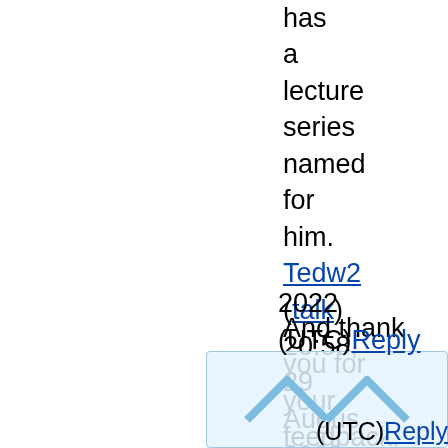has a lecture series named for him. Tedw2 (talk) 20:58, 29 August 2022 (UTC)
And thank you for your feedback. Tedw2 (talk) 01:31, 30 August 2022 (UTC) Reply